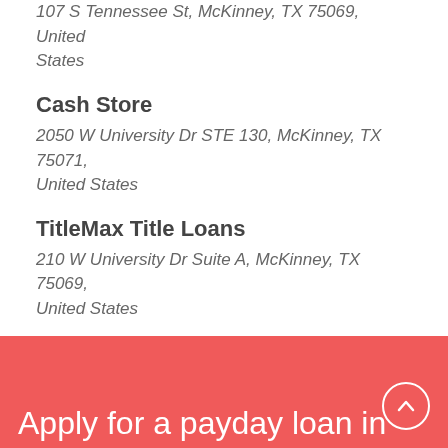107 S Tennessee St, McKinney, TX 75069, United States
Cash Store
2050 W University Dr STE 130, McKinney, TX 75071, United States
TitleMax Title Loans
210 W University Dr Suite A, McKinney, TX 75069, United States
Apply for a payday loan in